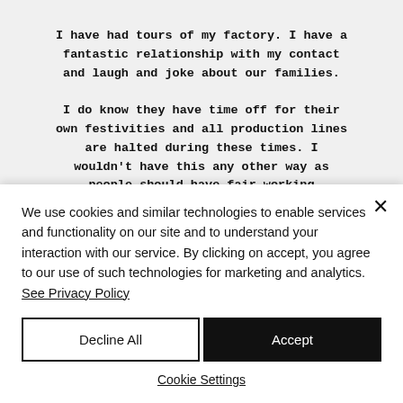I have had tours of my factory. I have a fantastic relationship with my contact and laugh and joke about our families.
I do know they have time off for their own festivities and all production lines are halted during these times. I wouldn't have this any other way as people should have fair working conditions and time to spend with their family's on important occasions.
I have also had a third party inspection report on the...
We use cookies and similar technologies to enable services and functionality on our site and to understand your interaction with our service. By clicking on accept, you agree to our use of such technologies for marketing and analytics. See Privacy Policy